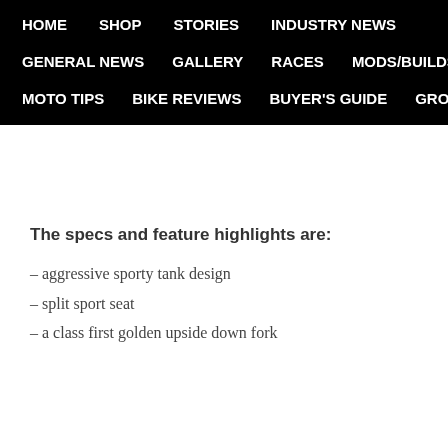HOME  SHOP  STORIES  INDUSTRY NEWS  GENERAL NEWS  GALLERY  RACES  MODS/BUILDS  MOTO TIPS  BIKE REVIEWS  BUYER'S GUIDE  GROUPS
The specs and feature highlights are:
– aggressive sporty tank design
– split sport seat
– a class first golden upside down fork